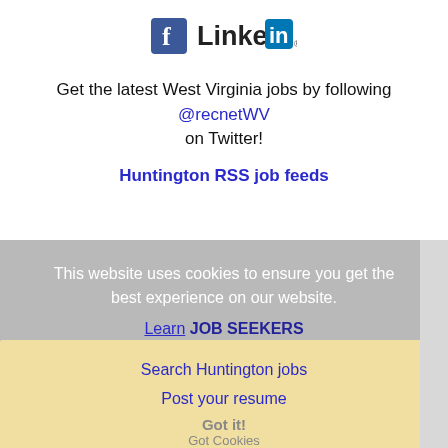[Figure (logo): Facebook and LinkedIn logos side by side]
Get the latest West Virginia jobs by following @recnetWV on Twitter!
Huntington RSS job feeds
This website uses cookies to ensure you get the best experience on our website.
Learn more
JOB SEEKERS
Search Huntington jobs
Post your resume
Got it!
Email job alerts
Register / Log in